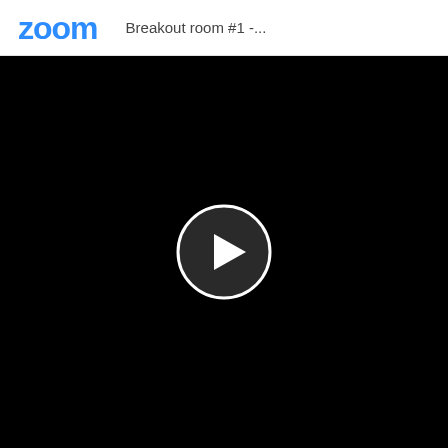[Figure (logo): Zoom logo in blue text]
Breakout room #1 -...
[Figure (screenshot): Black video player area with a circular play button in the center. The circle has a dark background with a white border and a white play triangle inside.]